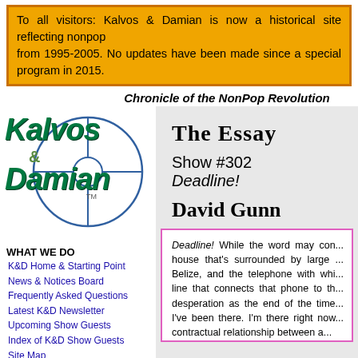To all visitors: Kalvos & Damian is now a historical site reflecting nonpop from 1995-2005. No updates have been made since a special program in 2015.
Chronicle of the NonPop Revolution
[Figure (logo): Kalvos & Damian logo with crosshair/target circle graphic, green stylized text]
WHAT WE DO
K&D Home & Starting Point
News & Notices Board
Frequently Asked Questions
Latest K&D Newsletter
Upcoming Show Guests
Index of K&D Show Guests
Site Map
Full Site Search
MUSIC & FEATURES
Broadcast Audio Archive
ASCAP Deems Taylor Award
9/11 Musical Gallery
Ought-One Festival 2001
The Essay
Show #302 Deadline!
David Gunn
Deadline! While the word may con... house that's surrounded by large ... Belize, and the telephone with whi... line that connects that phone to th... desperation as the end of the time... I've been there. I'm there right now... contractual relationship between a...